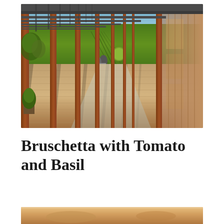[Figure (photo): Outdoor pergola walkway with rusted steel posts and grey overhead beams, casting striped shadows on a wooden deck. Green vineyard visible in the background under a blue sky. People seated at tables in the middle distance.]
Bruschetta with Tomato and Basil
[Figure (photo): Partial view of food/dish at the bottom of the page, cut off.]